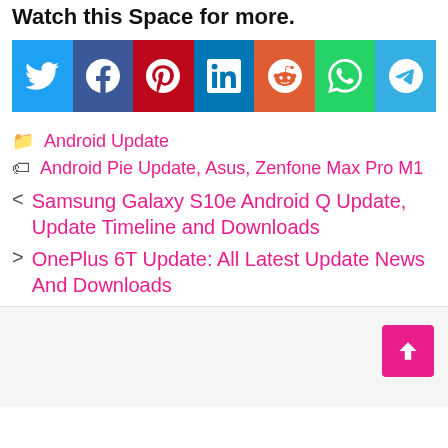Watch this Space for more.
[Figure (infographic): Social sharing buttons row: Twitter (blue), Facebook (dark blue), Pinterest (red), LinkedIn (blue), Reddit (orange), WhatsApp (green), Telegram (light blue)]
Android Update
Android Pie Update, Asus, Zenfone Max Pro M1
< Samsung Galaxy S10e Android Q Update, Update Timeline and Downloads
> OnePlus 6T Update: All Latest Update News And Downloads